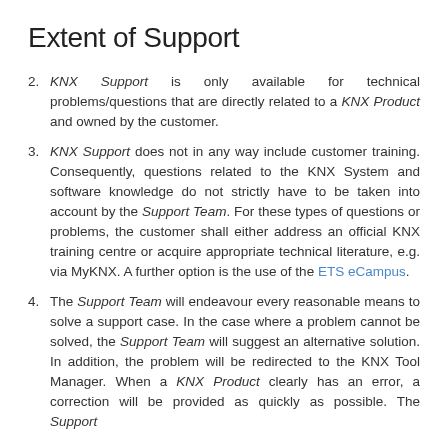Extent of Support
KNX Support is only available for technical problems/questions that are directly related to a KNX Product and owned by the customer.
KNX Support does not in any way include customer training. Consequently, questions related to the KNX System and software knowledge do not strictly have to be taken into account by the Support Team. For these types of questions or problems, the customer shall either address an official KNX training centre or acquire appropriate technical literature, e.g. via MyKNX. A further option is the use of the ETS eCampus.
The Support Team will endeavour every reasonable means to solve a support case. In the case where a problem cannot be solved, the Support Team will suggest an alternative solution. In addition, the problem will be redirected to the KNX Tool Manager. When a KNX Product clearly has an error, a correction will be provided as quickly as possible. The Support